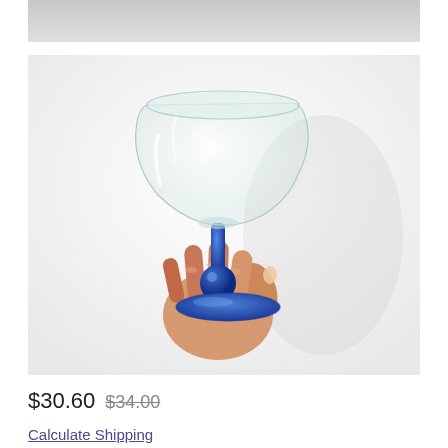[Figure (photo): A hand holding a clear margarita glass with a cobalt blue stem and base, photographed against a white/light gray background. The glass bowl is transparent, the stem and base are vivid blue.]
$30.60 $34.00
Calculate Shipping